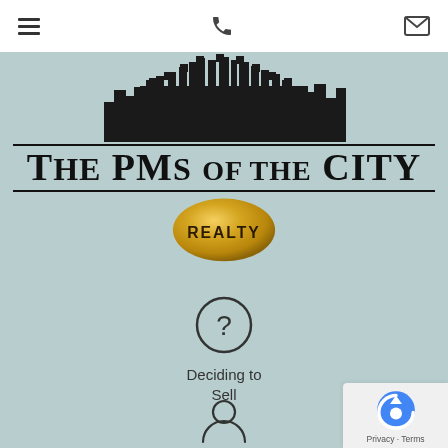Navigation bar with hamburger menu, phone icon, and email icon
[Figure (logo): The PMs of the City Realty logo — city skyline silhouette above text 'THE PMs OF THE CITY' with horizontal rules and a gold circle badge reading 'REALTY']
[Figure (infographic): Circle with question mark icon above text 'Deciding to Sell']
Deciding to Sell
[Figure (infographic): Person/user silhouette icon]